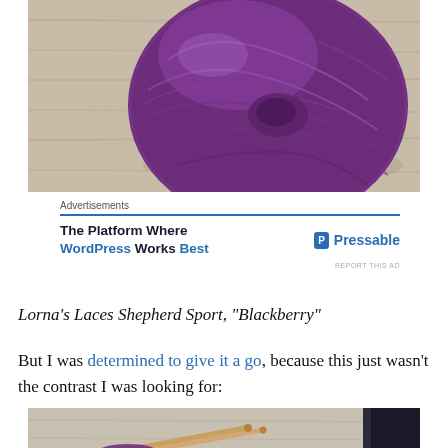[Figure (photo): Close-up photo of a ball of purple yarn (Lorna's Laces Shepherd Sport in Blackberry colorway) resting on a light wood surface]
[Figure (screenshot): Advertisement for Pressable: 'The Platform Where WordPress Works Best' with blue divider line and Pressable logo]
Lorna's Laces Shepherd Sport, "Blackberry"
But I was determined to give it a go, because this just wasn't the contrast I was looking for:
[Figure (photo): Partial photo at bottom showing knitting needles and yarn on a wood surface]